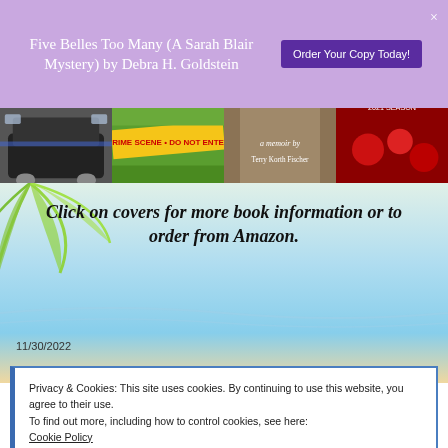Five Belles Too Many (A Sarah Blair Mystery) by Debra H. Goldstein
[Figure (screenshot): Purple button: Order Your Copy Today!]
[Figure (photo): Strip of four book cover images: police car, crime scene tape, memoir cover (a memoir by Terry Korth Fischer), Christmas decorations]
Click on covers for more book information or to order from Amazon.
11/30/2022
Privacy & Cookies: This site uses cookies. By continuing to use this website, you agree to their use.
To find out more, including how to control cookies, see here:
Cookie Policy
Close and accept